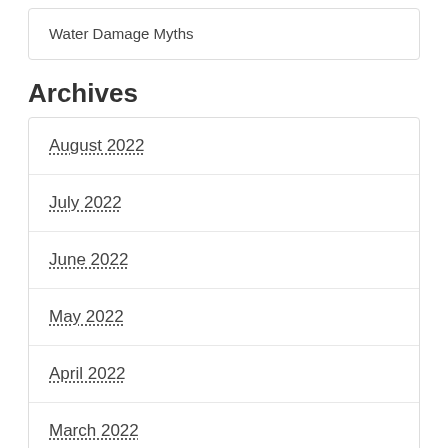Water Damage Myths
Archives
August 2022
July 2022
June 2022
May 2022
April 2022
March 2022
February 2022